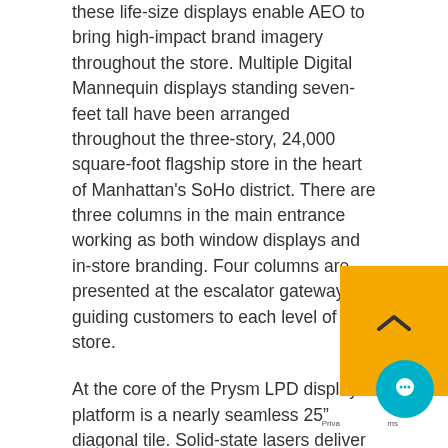these life-size displays enable AEO to bring high-impact brand imagery throughout the store. Multiple Digital Mannequin displays standing seven-feet tall have been arranged throughout the three-story, 24,000 square-foot flagship store in the heart of Manhattan's SoHo district. There are three columns in the main entrance working as both window displays and in-store branding. Four columns are presented at the escalator gateways, guiding customers to each level of the store.
At the core of the Prysm LPD display platform is a nearly seamless 25" diagonal tile. Solid-state lasers deliver brilliant image quality for even the fastest action video content, viewable from 178-degrees, while using up to 75 percent less power than traditional backlit or projection technology-based products. Since Prysm's display solution uses less power, generates less heat and has no consumables to monitor or replace, infrastructure costs related to space planning and air conditioning are lower. In addition to lowering total cost of ownership and operation for customers, Prysm's display platform